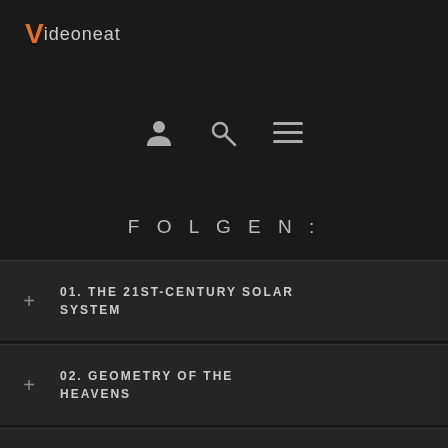[Figure (logo): Videoneat logo with orange V and grey text]
[Figure (infographic): Navigation icons: user/person, search magnifier, hamburger menu]
FOLGEN:
01. THE 21ST-CENTURY SOLAR SYSTEM
02. GEOMETRY OF THE HEAVENS
03. TRUTH, BEAUTY, AND HELIOCENTRISM